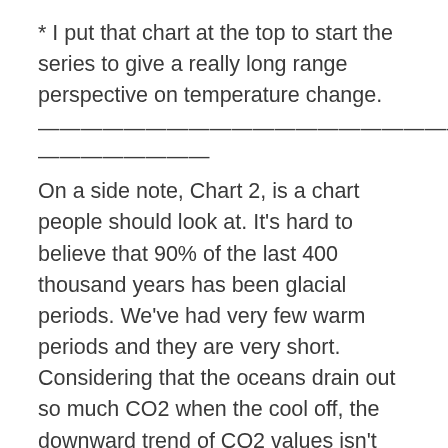* I put that chart at the top to start the series to give a really long range perspective on temperature change.
————————————————————————————————————————————
On a side note, Chart 2, is a chart people should look at. It's hard to believe that 90% of the last 400 thousand years has been glacial periods. We've had very few warm periods and they are very short. Considering that the oceans drain out so much CO2 when the cool off, the downward trend of CO2 values isn't surprising at all. This should be cause for alarm and not the rise in CO2. This will however be a hard nut to crack. Since it's